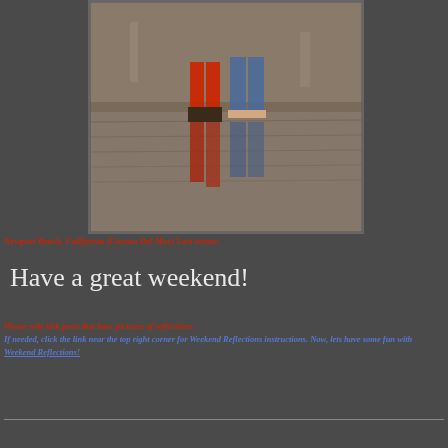[Figure (photo): Two people walking on a wet reflective beach surface, one wearing a red jacket, with their reflections visible in the wet sand. Newport Beach, California (Corona Del Mar).]
Newport Beach, California (Corona Del Mar) Last winter.
Have a great weekend!
Please only link posts that have pictures of reflections. If needed, click the link near the top right corner for Weekend Reflections instructions. Now, lets have some fun with Weekend Reflections!